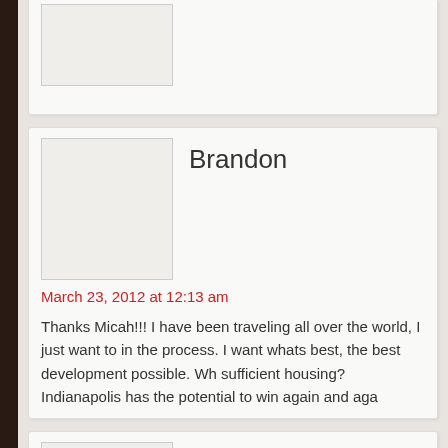Brandon
March 23, 2012 at 12:13 am
Thanks Micah!!! I have been traveling all over the world, I just want to in the process. I want whats best, the best development possible. Wh sufficient housing? Indianapolis has the potential to win again and aga
David
March 23, 2012 at 11:02 am